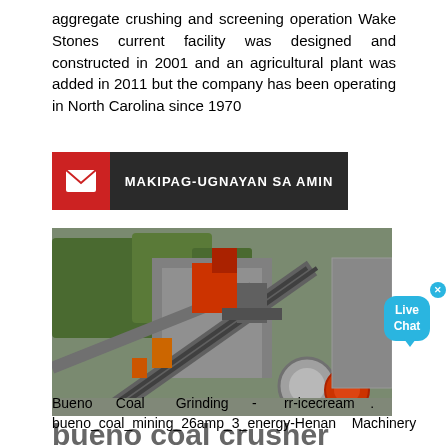aggregate crushing and screening operation Wake Stones current facility was designed and constructed in 2001 and an agricultural plant was added in 2011 but the company has been operating in North Carolina since 1970
[Figure (other): Contact bar with red envelope icon and dark background reading MAKIPAG-UGNAYAN SA AMIN]
[Figure (photo): Industrial aggregate crushing and screening facility with conveyor belts, machinery, crushers and green trees in background]
[Figure (other): Live Chat bubble button with close X, cyan/blue color]
bueno coal crusher
Bueno Coal Grinding - rr-icecream . bueno_coal_mining_26amp_3_energy-Henan Machinery and ...